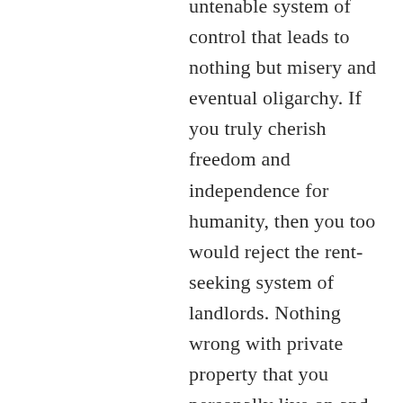untenable system of control that leads to nothing but misery and eventual oligarchy. If you truly cherish freedom and independence for humanity, then you too would reject the rent-seeking system of landlords. Nothing wrong with private property that you personally live on and use. But this notion of owning that which you merely intend to control for the